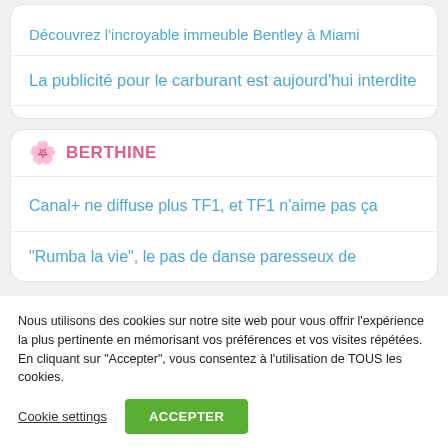Découvrez l'incroyable immeuble Bentley à Miami
La publicité pour le carburant est aujourd'hui interdite
🌸 BERTHINE
Canal+ ne diffuse plus TF1, et TF1 n'aime pas ça
"Rumba la vie", le pas de danse paresseux de
Nous utilisons des cookies sur notre site web pour vous offrir l'expérience la plus pertinente en mémorisant vos préférences et vos visites répétées. En cliquant sur "Accepter", vous consentez à l'utilisation de TOUS les cookies.
Cookie settings | ACCEPTER